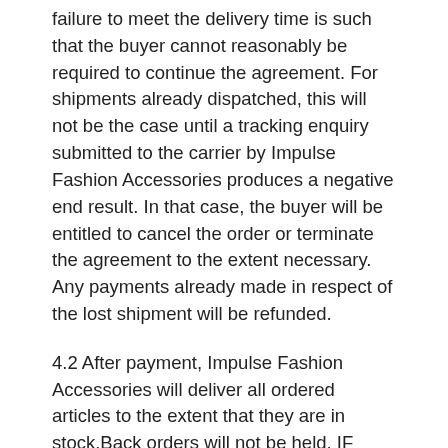failure to meet the delivery time is such that the buyer cannot reasonably be required to continue the agreement. For shipments already dispatched, this will not be the case until a tracking enquiry submitted to the carrier by Impulse Fashion Accessories produces a negative end result. In that case, the buyer will be entitled to cancel the order or terminate the agreement to the extent necessary. Any payments already made in respect of the lost shipment will be refunded.
4.2 After payment, Impulse Fashion Accessories will deliver all ordered articles to the extent that they are in stock.Back orders will not be held. IF desired, the buyer may order those articles when they are available. Any payment already made in the amount of the price that the buyer on site will constitute full proof of delivery.
4.3 Impulse Fashion Accessories will have full filled its